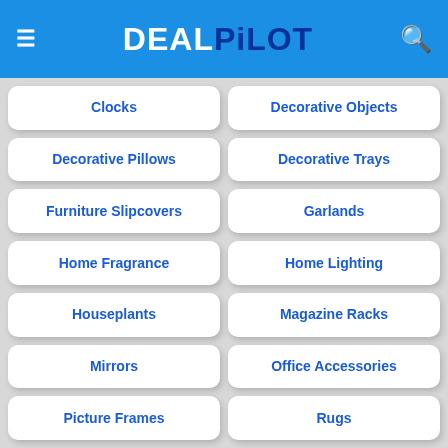DEAL PILOT
Clocks
Decorative Objects
Decorative Pillows
Decorative Trays
Furniture Slipcovers
Garlands
Home Fragrance
Home Lighting
Houseplants
Magazine Racks
Mirrors
Office Accessories
Picture Frames
Rugs